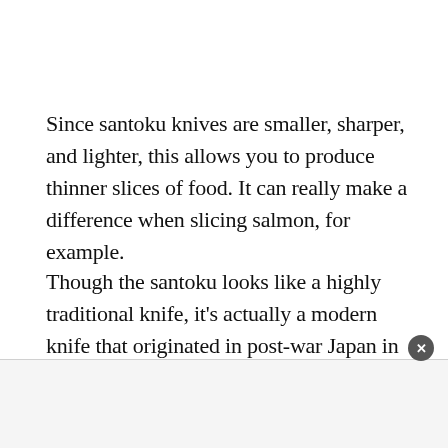Since santoku knives are smaller, sharper, and lighter, this allows you to produce thinner slices of food. It can really make a difference when slicing salmon, for example.
Though the santoku looks like a highly traditional knife, it's actually a modern knife that originated in post-war Japan in the 1940s.